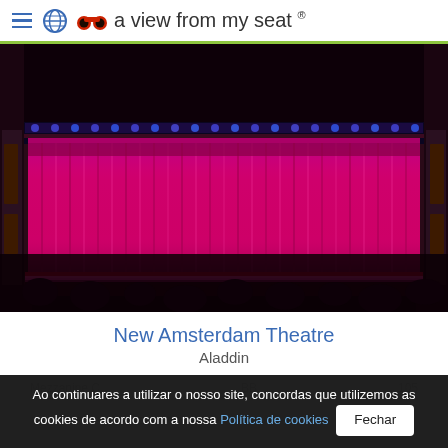a view from my seat ®
[Figure (photo): View from a theatre seat showing a lit stage curtain in bright magenta/pink and blue lighting at the New Amsterdam Theatre during Aladdin. The stage curtain glows with vivid pink/magenta hues lit from above with blue accents. Dark ornate theatre walls and audience silhouettes visible in foreground.]
New Amsterdam Theatre
Aladdin
Mezzanine C   BB   105
Ao continuares a utilizar o nosso site, concordas que utilizemos as cookies de acordo com a nossa Política de cookies  Fechar
anónimo